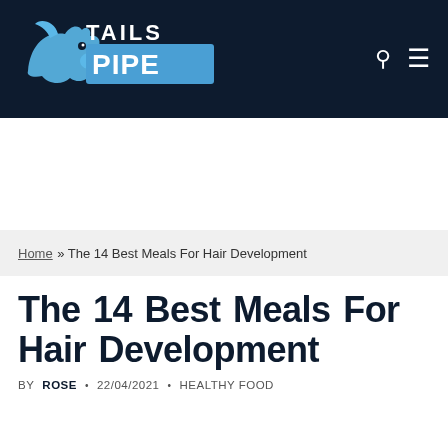[Figure (logo): Tails Pipe logo with shark/dog silhouette and blue rectangular banner with PIPE text on dark navy background]
Home » The 14 Best Meals For Hair Development
The 14 Best Meals For Hair Development
BY ROSE • 22/04/2021 • HEALTHY FOOD